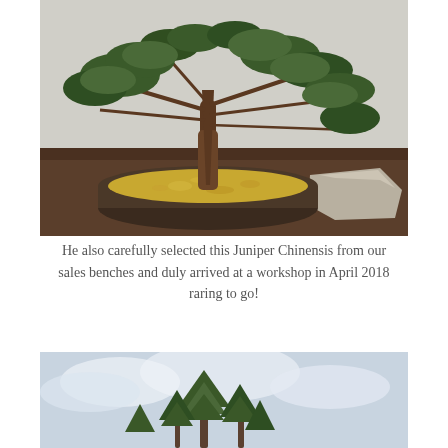[Figure (photo): A bonsai juniper chinensis tree in a dark shallow ceramic pot filled with yellow gravel/grit, placed on a wooden surface with a flat stone beside it, against a light grey wall background.]
He also carefully selected this Juniper Chinensis from our sales benches and duly arrived at a workshop in April 2018 raring to go!
[Figure (photo): A young juniper or pine tree with multiple upright branches against a cloudy sky background, partially cropped at the bottom of the page.]